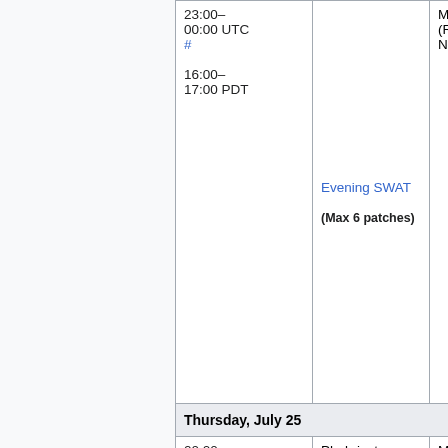| Time | Event | Conductor |
| --- | --- | --- |
| 23:00–00:00 UTC #
16:00–17:00 PDT | Evening SWAT
(Max 6 patches) | Max (MaxSe...
(RoanKatt...
Niharika (N... |
| Thursday, July 25 |  |  |
| 00:00–01:00 UTC #
(Wed) | Phabricator update | Mukunda
(twentyaf... |